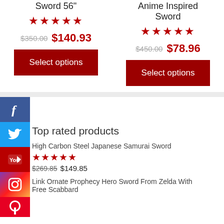Sword 56"
★★★★★
$350.00  $140.93
Select options
Anime Inspired Sword
★★★★★
$450.00  $78.96
Select options
[Figure (logo): Facebook icon (f) in blue square]
[Figure (logo): Twitter bird icon in blue square]
[Figure (logo): YouTube icon in red square]
[Figure (logo): Instagram icon in gradient square]
[Figure (logo): Pinterest icon in red square (partial)]
Top rated products
High Carbon Steel Japanese Samurai Sword
★★★★★
$269.85  $149.85
Link Ornate Prophecy Hero Sword From Zelda With Free Scabbard